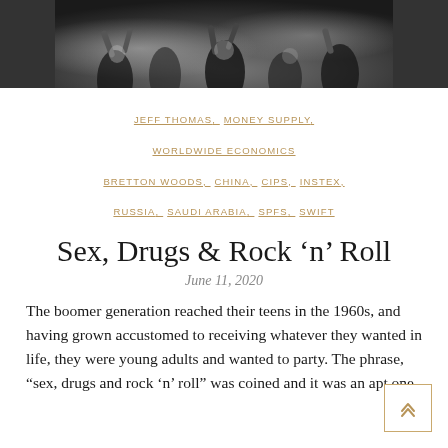[Figure (photo): Black and white photo of a crowd of people at a concert or gathering, arms raised, mouths open, appearing to cheer or celebrate.]
JEFF THOMAS, MONEY SUPPLY, WORLDWIDE ECONOMICS
BRETTON WOODS, CHINA, CIPS, INSTEX, RUSSIA, SAUDI ARABIA, SPFS, SWIFT
Sex, Drugs & Rock 'n' Roll
June 11, 2020
The boomer generation reached their teens in the 1960s, and having grown accustomed to receiving whatever they wanted in life, they were young adults and wanted to party. The phrase, “sex, drugs and rock ‘n’ roll” was coined and it was an apt one.